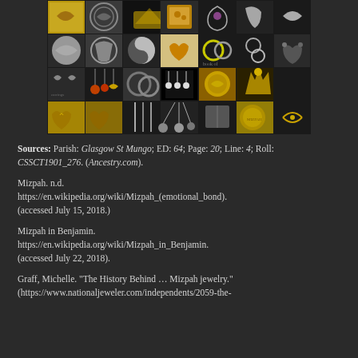[Figure (photo): A collage of Mizpah jewelry items including pendants, lockets, rings, brooches, and necklaces in gold and silver tones, arranged in a grid of approximately 4 rows and 7 columns.]
Sources: Parish: Glasgow St Mungo; ED: 64; Page: 20; Line: 4; Roll: CSSCT1901_276. (Ancestry.com).
Mizpah. n.d. https://en.wikipedia.org/wiki/Mizpah_(emotional_bond). (accessed July 15, 2018.)
Mizpah in Benjamin. https://en.wikipedia.org/wiki/Mizpah_in_Benjamin. (accessed July 22, 2018).
Graff, Michelle. "The History Behind … Mizpah jewelry." (https://www.nationaljeweler.com/independents/2059-the-